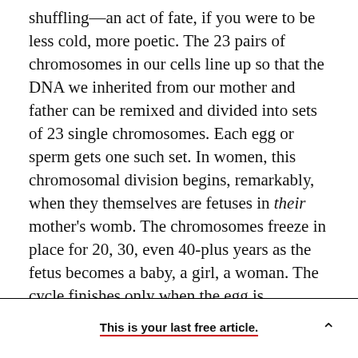shuffling—an act of fate, if you were to be less cold, more poetic. The 23 pairs of chromosomes in our cells line up so that the DNA we inherited from our mother and father can be remixed and divided into sets of 23 single chromosomes. Each egg or sperm gets one such set. In women, this chromosomal division begins, remarkably, when they themselves are fetuses in their mother's womb. The chromosomes freeze in place for 20, 30, even 40-plus years as the fetus becomes a baby, a girl, a woman. The cycle finishes only when the egg is fertilized. During the intervening years, the proteins holding chromosomes together can
This is your last free article.